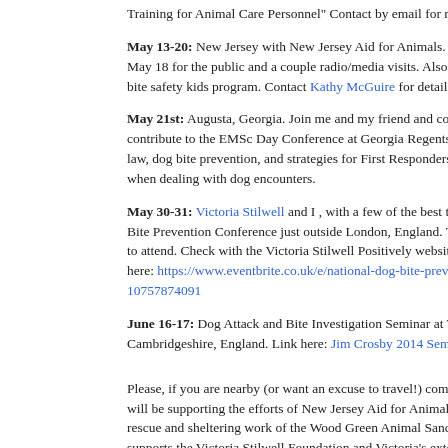Training for Animal Care Personnel" Contact by email for registration at co...
May 13-20: New Jersey with New Jersey Aid for Animals. Seminars on sev... May 18 for the public and a couple radio/media visits. Also appearence wit... bite safety kids program. Contact Kathy McGuire for details of individual s...
May 21st: Augusta, Georgia. Join me and my friend and colleague Attorney... contribute to the EMSc Day Conference at Georgia Regents University. We... law, dog bite prevention, and strategies for First Responders to guard their a... when dealing with dog encounters.
May 30-31: Victoria Stilwell and I , with a few of the best trainers in the wo... Bite Prevention Conference just outside London, England. This is a public... to attend. Check with the Victoria Stilwell Positively website for more info... here: https://www.eventbrite.co.uk/e/national-dog-bite-prevention-behaviou... 10757874091
June 16-17: Dog Attack and Bite Investigation Seminar at Wood Green Ani... Cambridgeshire, England. Link here: Jim Crosby 2014 Seminar Update
Please, if you are nearby (or want an excuse to travel!) come on and join us... will be supporting the efforts of New Jersey Aid for Animals. The Seminar... rescue and sheltering work of the Wood Green Animal Sanctuary. The Dog... supports the Victoria Stilwell Foundation and Victoria's extensiv... and child safety around pet dogs and her work to promote positive based...